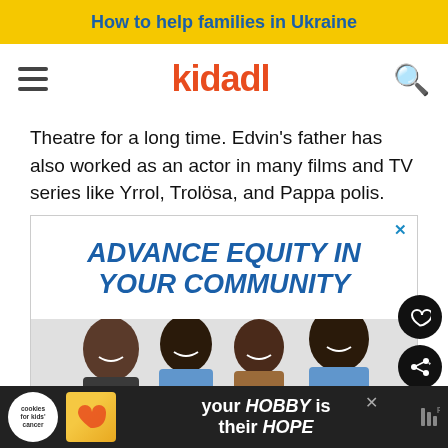How to help families in Ukraine
kidadl
Theatre for a long time. Edvin's father has also worked as an actor in many films and TV series like Yrrol, Trolösa, and Pappa polis.
[Figure (infographic): Advertisement banner: 'ADVANCE EQUITY IN YOUR COMMUNITY' in bold blue italic text, with a photo of smiling people below.]
[Figure (infographic): Bottom banner advertisement: Cookies for Kids' Cancer logo, 'your HOBBY is their HOPE' text on dark background.]